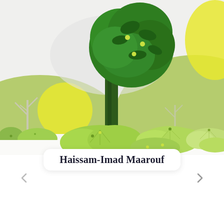[Figure (illustration): Flat vector illustration of a nature scene: a tall dark green tree with leafy canopy in the center, surrounded by rolling green hills, light green and yellow circular shapes, smaller bare trees on the left, and various rounded bush/shrub shapes in light green tones on the ground. Background is light gray/white.]
Haissam-Imad Maarouf
[Figure (other): Left navigation arrow (chevron/arrow pointing left) in light gray]
[Figure (other): Right navigation arrow (chevron/arrow pointing right) in gray]